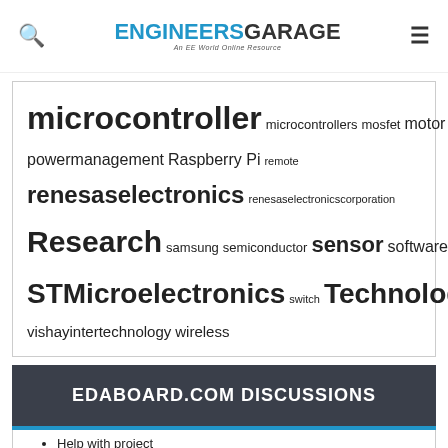ENGINEERS GARAGE — An EE World Online Resource
microcontroller microcontrollers mosfet motor powermanagement Raspberry Pi remote renesaselectronics renesaselectronicscorporation Research samsung semiconductor sensor software STMicroelectronics switch Technology vishayintertechnology wireless
EDABOARD.COM DISCUSSIONS
Help with project